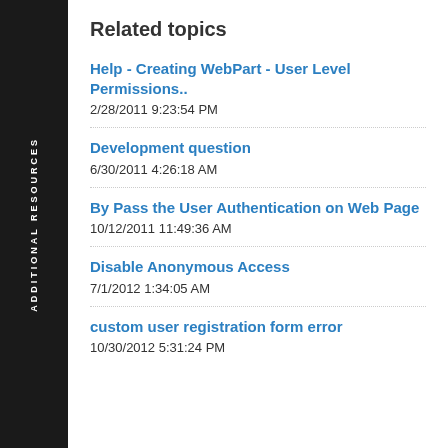Related topics
Help - Creating WebPart - User Level Permissions..
2/28/2011 9:23:54 PM
Development question
6/30/2011 4:26:18 AM
By Pass the User Authentication on Web Page
10/12/2011 11:49:36 AM
Disable Anonymous Access
7/1/2012 1:34:05 AM
custom user registration form error
10/30/2012 5:31:24 PM